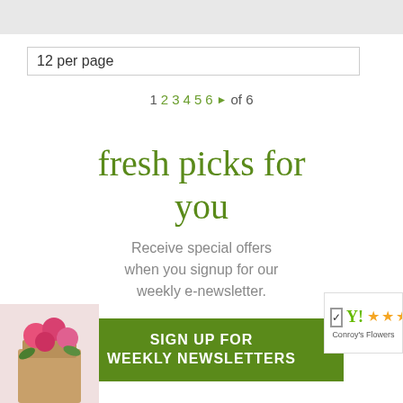[Figure (other): Gray top banner bar]
12 per page
1  2 3 4 5 6  ▶  of 6
fresh picks for you
Receive special offers when you signup for our weekly e-newsletter.
SIGN UP FOR WEEKLY NEWSLETTERS
[Figure (photo): Flower bouquet with pink flowers in brown paper wrap, bottom left corner]
[Figure (logo): Conroy's Flowers badge with yellow/orange stars and Y! checkmark logo]